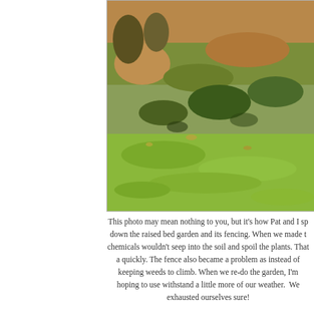[Figure (photo): Outdoor garden photo showing overgrown weeds and sparse vegetation across a yard area with brown and green mixed ground cover, dry shrubs visible in the background.]
This photo may mean nothing to you, but it's how Pat and I sp down the raised bed garden and its fencing. When we made t chemicals wouldn't seep into the soil and spoil the plants. That a quickly. The fence also became a problem as instead of keeping weeds to climb. When we re-do the garden, I'm hoping to use withstand a little more of our weather.  We exhausted ourselves sure!